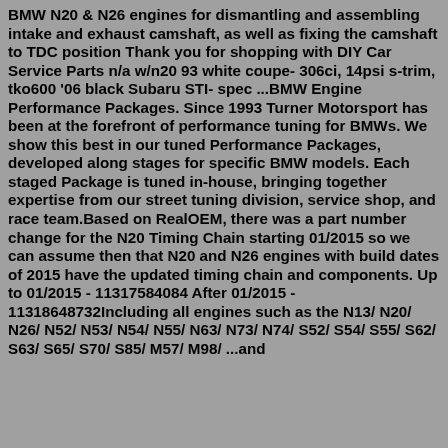BMW N20 & N26 engines for dismantling and assembling intake and exhaust camshaft, as well as fixing the camshaft to TDC position Thank you for shopping with DIY Car Service Parts n/a w/n20 93 white coupe- 306ci, 14psi s-trim, tko600 '06 black Subaru STI- spec ...BMW Engine Performance Packages. Since 1993 Turner Motorsport has been at the forefront of performance tuning for BMWs. We show this best in our tuned Performance Packages, developed along stages for specific BMW models. Each staged Package is tuned in-house, bringing together expertise from our street tuning division, service shop, and race team.Based on RealOEM, there was a part number change for the N20 Timing Chain starting 01/2015 so we can assume then that N20 and N26 engines with build dates of 2015 have the updated timing chain and components. Up to 01/2015 - 11317584084 After 01/2015 - 11318648732Including all engines such as the N13/ N20/ N26/ N52/ N53/ N54/ N55/ N63/ N73/ N74/ S52/ S54/ S55/ S62/ S63/ S65/ S70/ S85/ M57/ M98/ ...and